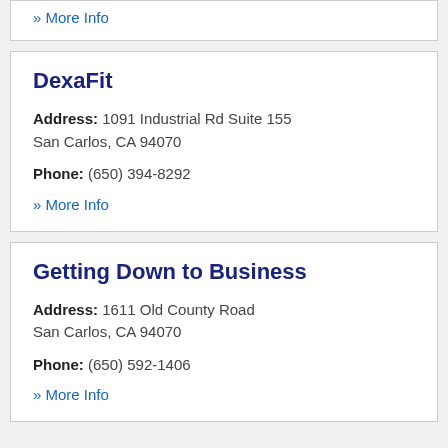» More Info
DexaFit
Address: 1091 Industrial Rd Suite 155 San Carlos, CA 94070
Phone: (650) 394-8292
» More Info
Getting Down to Business
Address: 1611 Old County Road San Carlos, CA 94070
Phone: (650) 592-1406
» More Info